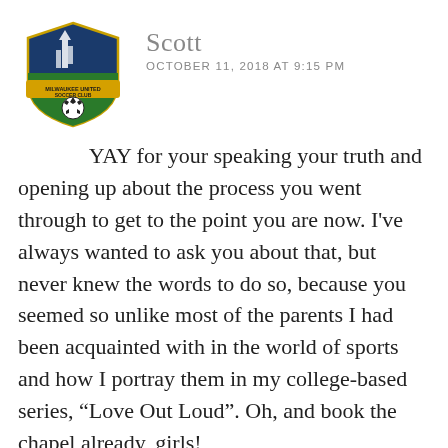[Figure (logo): Milwaukee United Soccer Club shield logo with blue and green colors, gold banner, and soccer ball]
Scott
OCTOBER 11, 2018 AT 9:15 PM
YAY for your speaking your truth and opening up about the process you went through to get to the point you are now. I've always wanted to ask you about that, but never knew the words to do so, because you seemed so unlike most of the parents I had been acquainted with in the world of sports and how I portray them in my college-based series, “Love Out Loud”. Oh, and book the chapel already, girls!